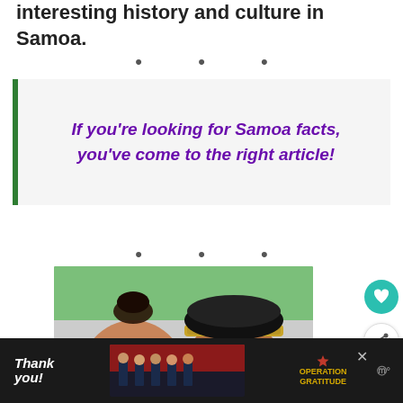interesting history and culture in Samoa.
• • •
If you're looking for Samoa facts, you've come to the right article!
• • •
[Figure (photo): Two young people smiling, one with hair in a bun and one wearing a headband, outdoors with green background]
[Figure (infographic): Operation Gratitude advertisement banner with firefighters and thank you text on dark background]